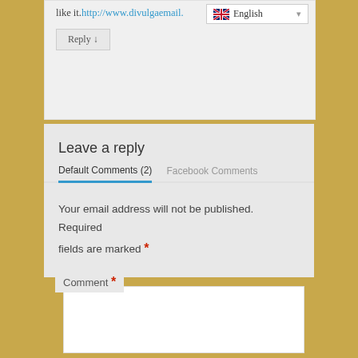like it. http://www.divulgaemail…
Reply ↓
Leave a reply
Default Comments (2)   Facebook Comments
Your email address will not be published. Required fields are marked *
Comment *